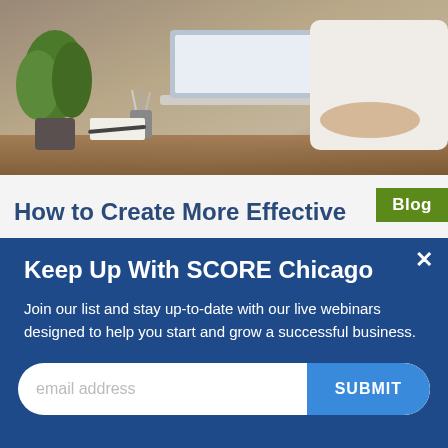[Figure (photo): Person in white shirt working on a laptop at a wooden desk, with a green plant in the background]
Blog
How to Create More Effective
Keep Up With SCORE Chicago
Join our list and stay up-to-date with our live webinars designed to help you start and grow a successful business.
email address
SUBMIT
IN PARTNERSHIP WITH
POWERED BY